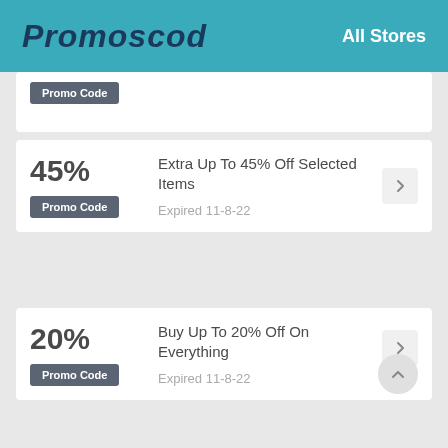Promoscod — All Stores
Promo Code
45% — Extra Up To 45% Off Selected Items — Promo Code — Expired 11-8-22
20% — Buy Up To 20% Off On Everything — Promo Code — Expired 11-8-22
$13% — Esockin Items Starting At